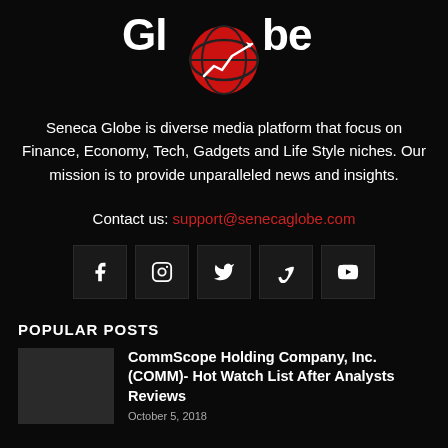[Figure (logo): Seneca Globe logo with stylized globe graphic and white bold text reading 'Globe']
Seneca Globe is diverse media platform that focus on Finance, Economy, Tech, Gadgets and Life Style niches. Our mission is to provide unparalleled news and insights.
Contact us: support@senecaglobe.com
[Figure (infographic): Row of 5 social media icon boxes: Facebook, Instagram, Twitter, Vimeo, YouTube]
POPULAR POSTS
CommScope Holding Company, Inc. (COMM)- Hot Watch List After Analysts Reviews